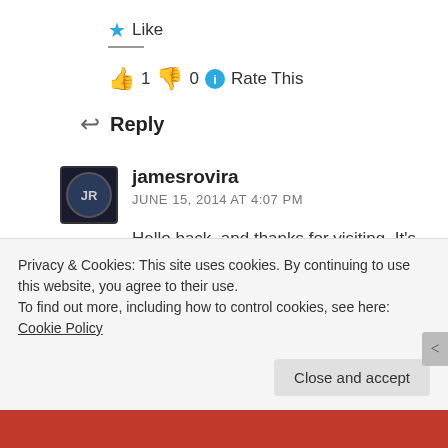★ Like
👍 1  👎 0  ℹ Rate This
↩ Reply
jamesrovira
JUNE 15, 2014 AT 4:07 PM
Hello back, and thanks for visiting. It's hilarious reading your bio, because we have lived our geographic lives in opposite directions. You were
Privacy & Cookies: This site uses cookies. By continuing to use this website, you agree to their use.
To find out more, including how to control cookies, see here: Cookie Policy
Close and accept